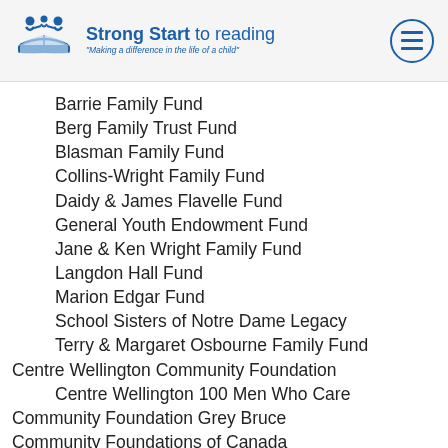Strong Start to reading — Making a difference in the life of a child
Barrie Family Fund
Berg Family Trust Fund
Blasman Family Fund
Collins-Wright Family Fund
Daidy & James Flavelle Fund
General Youth Endowment Fund
Jane & Ken Wright Family Fund
Langdon Hall Fund
Marion Edgar Fund
School Sisters of Notre Dame Legacy
Terry & Margaret Osbourne Family Fund
Centre Wellington Community Foundation
Centre Wellington 100 Men Who Care
Community Foundation Grey Bruce
Community Foundations of Canada
D.H. Gordon Foundation
Elgin St. Thomas Community Foundation
Excellence in Literacy Foundation